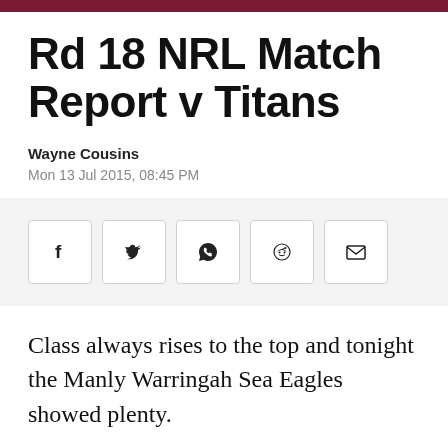Rd 18 NRL Match Report v Titans
Wayne Cousins
Mon 13 Jul 2015, 08:45 PM
[Figure (infographic): Social share buttons: Facebook, Twitter, WhatsApp, Reddit, Email]
Class always rises to the top and tonight the Manly Warringah Sea Eagles showed plenty.
In a dominant performance, the Sea Eagles